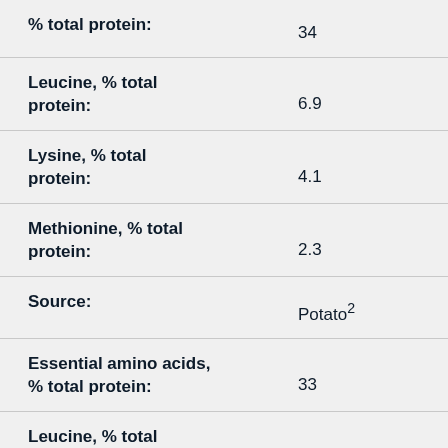| Property | Value |
| --- | --- |
| % total protein: | 34 |
| Leucine, % total protein: | 6.9 |
| Lysine, % total protein: | 4.1 |
| Methionine, % total protein: | 2.3 |
| Source: | Potato² |
| Essential amino acids, % total protein: | 33 |
| Leucine, % total |  |